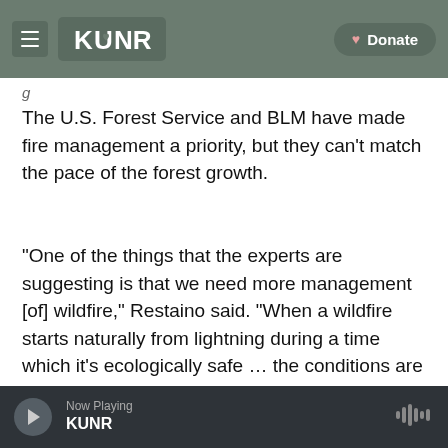KUNR — Donate
The U.S. Forest Service and BLM have made fire management a priority, but they can’t match the pace of the forest growth.
“One of the things that the experts are suggesting is that we need more management [of] wildfire,” Restaino said. “When a wildfire starts naturally from lightning during a time which it’s ecologically safe … the conditions are such that it is appropriate to let that fire burn, those are the types of things that we can do to help increase the scale of management.”
Now Playing KUNR